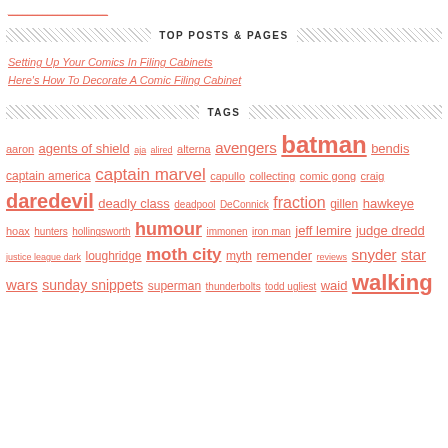(link at top, partially visible)
TOP POSTS & PAGES
Setting Up Your Comics In Filing Cabinets
Here's How To Decorate A Comic Filing Cabinet
TAGS
aaron agents of shield aja alired alterna avengers batman bendis captain america captain marvel capullo collecting comic gong craig daredevil deadly class deadpool DeConnick fraction gillen hawkeye hoax hunters hollingsworth humour immonen iron man jeff lemire judge dredd justice league dark loughridge moth city myth remender reviews snyder star wars sunday snippets superman thunderbolts todd ugliest waid walking